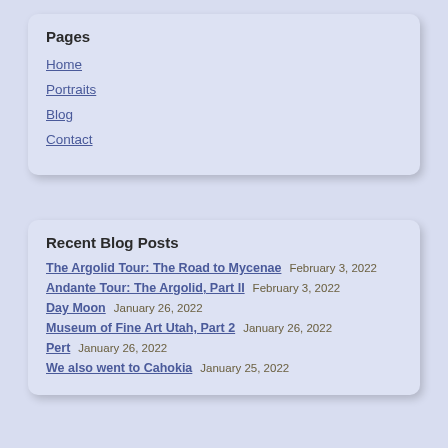Pages
Home
Portraits
Blog
Contact
Recent Blog Posts
The Argolid Tour: The Road to Mycenae  February 3, 2022
Andante Tour: The Argolid, Part II  February 3, 2022
Day Moon  January 26, 2022
Museum of Fine Art Utah, Part 2  January 26, 2022
Pert  January 26, 2022
We also went to Cahokia  January 25, 2022